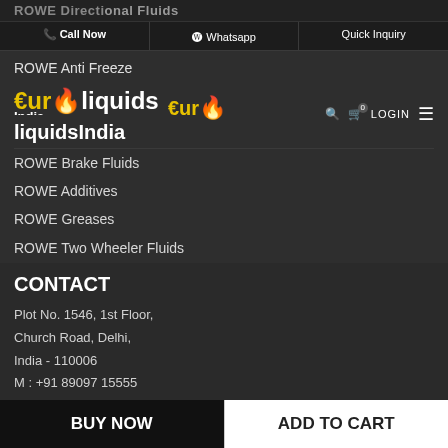ROWE Directional Fluids
Call Now | Whatsapp | Quick Inquiry
ROWE Anti Freeze
[Figure (logo): EuroliquidsIndia logo with euro symbol and flame icon]
ROWE Brake Fluids
ROWE Additives
ROWE Greases
ROWE Two Wheeler Fluids
CONTACT
Plot No. 1546, 1st Floor,
Church Road, Delhi,
India - 110006
M : +91 89097 15555
E : support@euroliquids.co.in
© 2020 Euroliquids India, All rights reserved. | Made with Passion : ibrandOx
BUY NOW | ADD TO CART